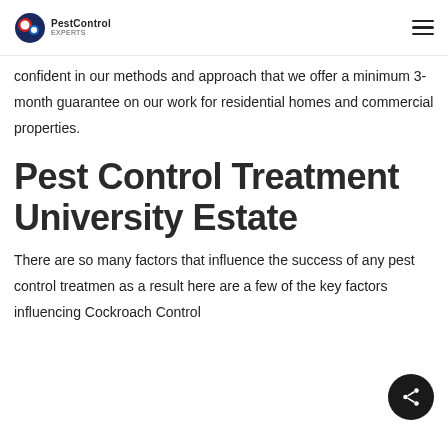PestControl
confident in our methods and approach that we offer a minimum 3-month guarantee on our work for residential homes and commercial properties.
Pest Control Treatment University Estate
There are so many factors that influence the success of any pest control treatment as a result here are a few of the key factors influencing Cockroach Control